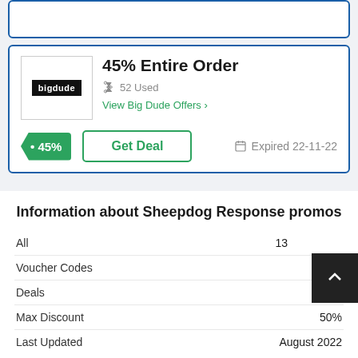[Figure (screenshot): Partial coupon card at top, clipped]
45% Entire Order
52 Used
View Big Dude Offers
45%
Get Deal
Expired 22-11-22
Information about Sheepdog Response promos
|  |  |
| --- | --- |
| All | 13 |
| Voucher Codes |  |
| Deals |  |
| Max Discount | 50% |
| Last Updated | August 2022 |